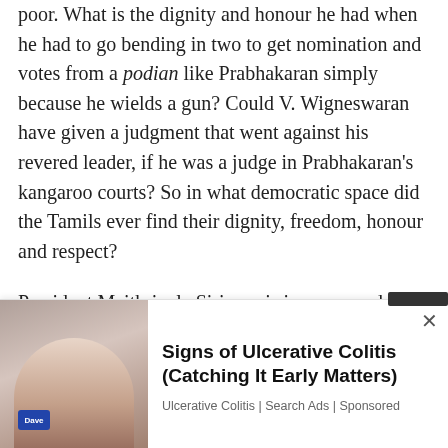poor. What is the dignity and honour he had when he had to go bending in two to get nomination and votes from a podian like Prabhakaran simply because he wields a gun? Could V. Wigneswaran have given a judgment that went against his revered leader, if he was a judge in Prabhakaran's kangaroo courts? So in what democratic space did the Tamils ever find their dignity, freedom, honour and respect?
President Maithripala Sirisena is in command of a force far greater than Prabhakaran ever had. But the Tamils have the freedom to oppose him without those guns being trained
[Figure (photo): Advertisement overlay showing a person lying down, with an ad for 'Signs of Ulcerative Colitis (Catching It Early Matters)' from Ulcerative Colitis | Search Ads | Sponsored]